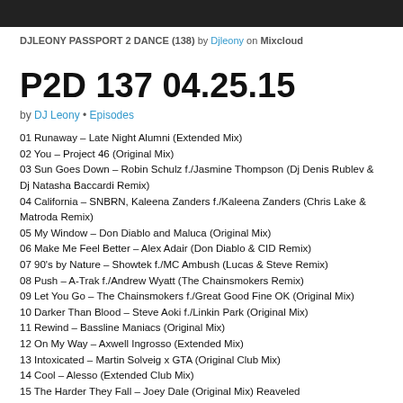DJLEONY PASSPORT 2 DANCE (138) by Djleony on Mixcloud
P2D 137 04.25.15
by DJ Leony • Episodes
01 Runaway – Late Night Alumni (Extended Mix)
02 You – Project 46 (Original Mix)
03 Sun Goes Down – Robin Schulz f./Jasmine Thompson (Dj Denis Rublev & Dj Natasha Baccardi Remix)
04 California – SNBRN, Kaleena Zanders f./Kaleena Zanders (Chris Lake & Matroda Remix)
05 My Window – Don Diablo and Maluca (Original Mix)
06 Make Me Feel Better – Alex Adair (Don Diablo & CID Remix)
07 90's by Nature – Showtek f./MC Ambush (Lucas & Steve Remix)
08 Push – A-Trak f./Andrew Wyatt (The Chainsmokers Remix)
09 Let You Go – The Chainsmokers f./Great Good Fine OK (Original Mix)
10 Darker Than Blood – Steve Aoki f./Linkin Park (Original Mix)
11 Rewind – Bassline Maniacs (Original Mix)
12 On My Way – Axwell Ingrosso (Extended Mix)
13 Intoxicated – Martin Solveig x GTA (Original Club Mix)
14 Cool – Alesso (Extended Club Mix)
15 The Harder They Fall – Joey Dale (Original Mix) Reaveled